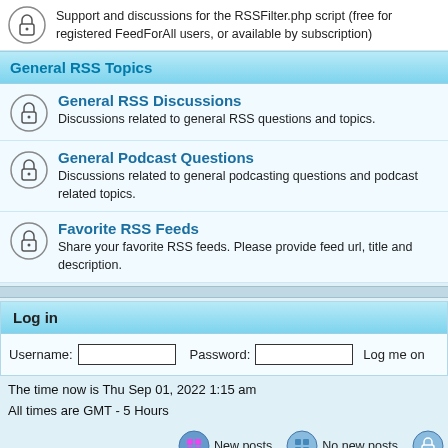Support and discussions for the RSSFilter.php script (free for registered FeedForAll users, or available by subscription)
General RSS Topics
General RSS Discussions — Discussions related to general RSS questions and topics.
General Podcast Questions — Discussions related to general podcasting questions and podcast related topics.
Favorite RSS Feeds — Share your favorite RSS feeds. Please provide feed url, title and description.
Log in
Username: [input] Password: [input] Log me on
The time now is Thu Sep 01, 2022 1:15 am
All times are GMT - 5 Hours
New posts   No new posts
Powered by phpBB © 2001, 2002 phpBB Group